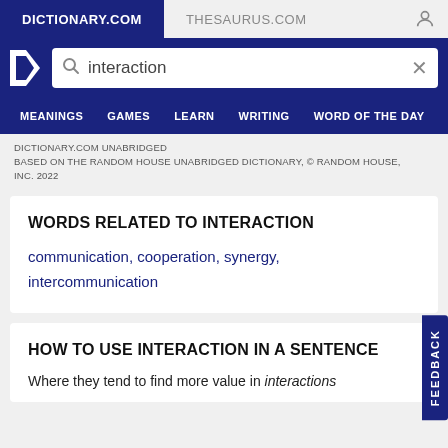DICTIONARY.COM | THESAURUS.COM
[Figure (screenshot): Dictionary.com logo with white letter D on blue background]
interaction
MEANINGS   GAMES   LEARN   WRITING   WORD OF THE DAY
DICTIONARY.COM UNABRIDGED
BASED ON THE RANDOM HOUSE UNABRIDGED DICTIONARY, © RANDOM HOUSE, INC. 2022
WORDS RELATED TO INTERACTION
communication, cooperation, synergy, intercommunication
HOW TO USE INTERACTION IN A SENTENCE
Where they tend to find more value in interactions